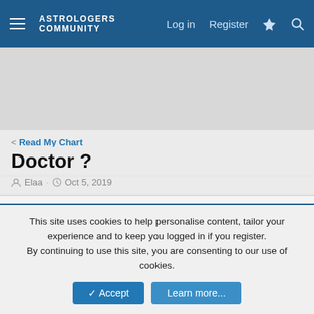ASTROLOGERS COMMUNITY  Log in  Register
< Read My Chart
Doctor ?
Elaa · Oct 5, 2019
Elaa
Member
Oct 5, 2019  #1
This site uses cookies to help personalise content, tailor your experience and to keep you logged in if you register.
By continuing to use this site, you are consenting to our use of cookies.
Accept  Learn more...